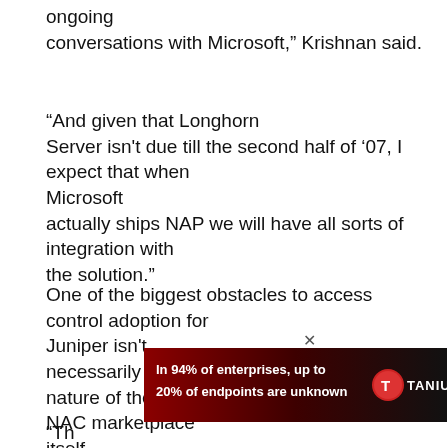ongoing
conversations with Microsoft,” Krishnan said.
“And given that Longhorn Server isn’t due till the second half of ’07, I expect that when Microsoft actually ships NAP we will have all sorts of integration with the solution.”
One of the biggest obstacles to access control adoption for Juniper isn’t necessarily the technology; it’s the crowded nature of the NAC marketplace itself.
[Figure (infographic): Tanium advertisement banner: dark red to black gradient background. Bold white text reads 'In 94% of enterprises, up to 20% of endpoints are unknown'. Tanium logo on right side with circular icon and bold white 'TANIUM' text. Close (x) button in top right corner.]
“Th...